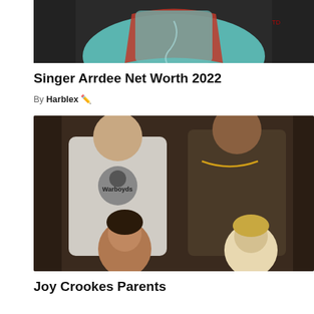[Figure (photo): Photo of singer Arrdee wearing a teal long-sleeve shirt and red puffer vest, holding a microphone, cropped at top of page]
Singer Arrdee Net Worth 2022
By Harblex 🖊
[Figure (photo): Group photo showing two adults and two young children. Left adult wearing white graphic t-shirt with skull graphic, right adult in dark jacket with gold necklace. Two toddler-aged children in front.]
Joy Crookes Parents